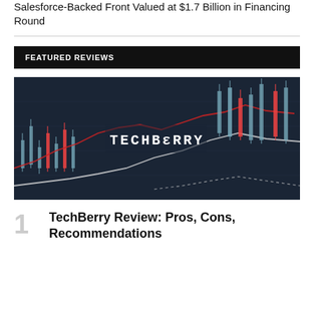Salesforce-Backed Front Valued at $1.7 Billion in Financing Round
FEATURED REVIEWS
[Figure (illustration): Dark financial trading chart background with candlestick patterns, red and white line overlays, and the TechBerry logo centered in white monospace text]
TechBerry Review: Pros, Cons, Recommendations